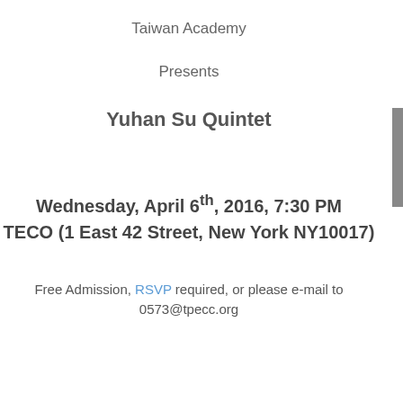Taiwan Academy
Presents
Yuhan Su Quintet
Wednesday, April 6th, 2016, 7:30 PM TECO (1 East 42 Street, New York NY10017)
Free Admission, RSVP required, or please e-mail to 0573@tpecc.org